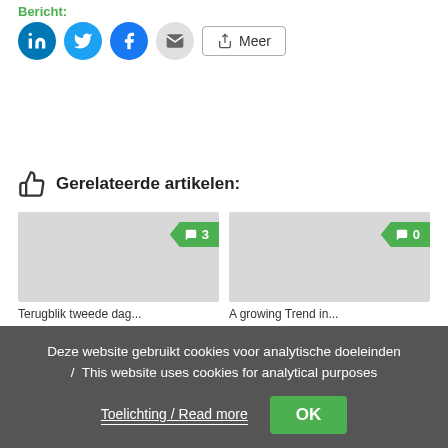Bericht:
[Figure (other): Social sharing buttons: LinkedIn (blue circle), Twitter (light blue circle), Facebook (blue circle), Email (grey circle), and Meer (More) button]
Gerelateerde artikelen:
[Figure (other): Article card with grey placeholder image and green comment badge showing 3 comments. Title: Terugblik tweede dag]
[Figure (other): Article card with grey placeholder image and green comment badge showing 0 comments. Title: A growing Trend in]
Terugblik tweede dag
A growing Trend in
Deze website gebruikt cookies voor analytische doeleinden / This website uses cookies for analytical purposes
Toelichting / Read more
OK